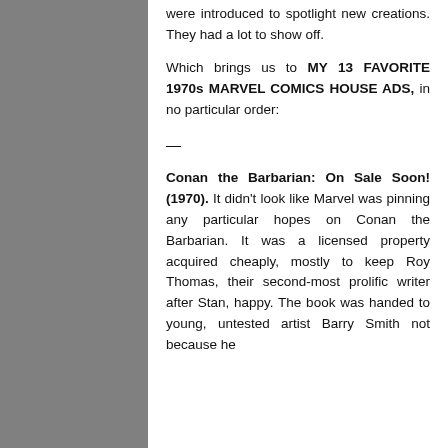were introduced to spotlight new creations. They had a lot to show off.
Which brings us to MY 13 FAVORITE 1970s MARVEL COMICS HOUSE ADS, in no particular order:
—
Conan the Barbarian: On Sale Soon! (1970). It didn't look like Marvel was pinning any particular hopes on Conan the Barbarian. It was a licensed property acquired cheaply, mostly to keep Roy Thomas, their second-most prolific writer after Stan, happy. The book was handed to young, untested artist Barry Smith not because he